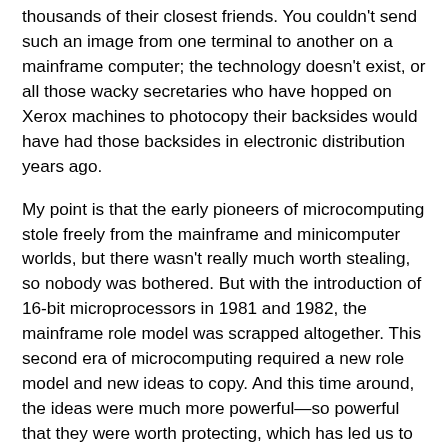thousands of their closest friends. You couldn't send such an image from one terminal to another on a mainframe computer; the technology doesn't exist, or all those wacky secretaries who have hopped on Xerox machines to photocopy their backsides would have had those backsides in electronic distribution years ago.
My point is that the early pioneers of microcomputing stole freely from the mainframe and minicomputer worlds, but there wasn't really much worth stealing, so nobody was bothered. But with the introduction of 16-bit microprocessors in 1981 and 1982, the mainframe role model was scrapped altogether. This second era of microcomputing required a new role model and new ideas to copy. And this time around, the ideas were much more powerful—so powerful that they were worth protecting, which has led us to this look-and-feel fiasco. Most of these new ideas came from the Xerox Palo Alto Research Center (PARC). They still do.
To understand the personal computer industry, we have to understand Xerox PARC, because that's where the most of the new personal computing ideas were developed and from